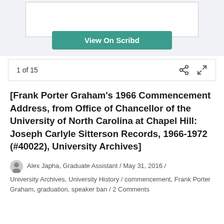[Figure (screenshot): Scribd document preview area with a white document thumbnail and a teal 'View On Scribd' button]
1 of 15
[Frank Porter Graham's 1966 Commencement Address, from Office of Chancellor of the University of North Carolina at Chapel Hill: Joseph Carlyle Sitterson Records, 1966-1972 (#40022), University Archives]
Alex Japha, Graduate Assistant / May 31, 2016 / University Archives, University History / commencement, Frank Porter Graham, graduation, speaker ban / 2 Comments